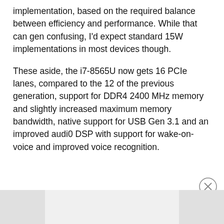implementation, based on the required balance between efficiency and performance. While that can gen confusing, I'd expect standard 15W implementations in most devices though.
These aside, the i7-8565U now gets 16 PCIe lanes, compared to the 12 of the previous generation, support for DDR4 2400 MHz memory and slightly increased maximum memory bandwidth, native support for USB Gen 3.1 and an improved audi0 DSP with support for wake-on-voice and improved voice recognition.